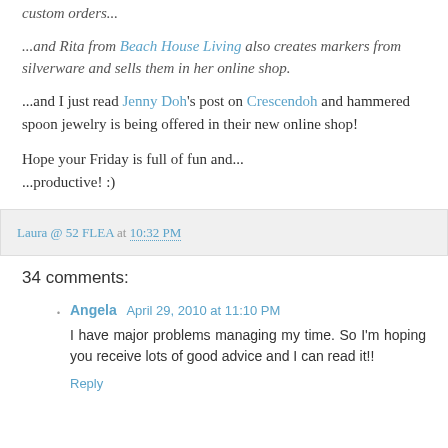custom orders...
...and Rita from Beach House Living also creates markers from silverware and sells them in her online shop.
...and I just read Jenny Doh's post on Crescendoh and hammered spoon jewelry is being offered in their new online shop!
Hope your Friday is full of fun and...
...productive! :)
Laura @ 52 FLEA at 10:32 PM
34 comments:
Angela April 29, 2010 at 11:10 PM
I have major problems managing my time. So I'm hoping you receive lots of good advice and I can read it!!
Reply